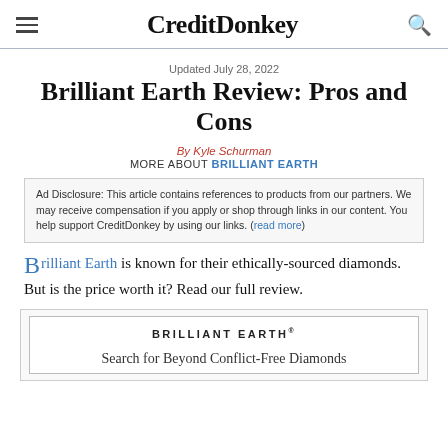CreditDonkey
Updated July 28, 2022
Brilliant Earth Review: Pros and Cons
By Kyle Schurman
MORE ABOUT BRILLIANT EARTH
Ad Disclosure: This article contains references to products from our partners. We may receive compensation if you apply or shop through links in our content. You help support CreditDonkey by using our links. (read more)
Brilliant Earth is known for their ethically-sourced diamonds. But is the price worth it? Read our full review.
[Figure (other): Brilliant Earth promotional box with brand name and tagline 'Search for Beyond Conflict-Free Diamonds']